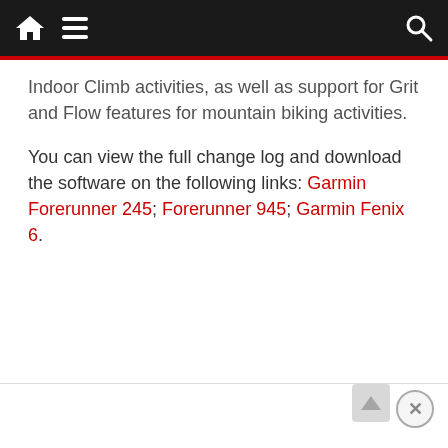Navigation bar with home, menu, and search icons
Indoor Climb activities, as well as support for Grit and Flow features for mountain biking activities.
You can view the full change log and download the software on the following links: Garmin Forerunner 245; Forerunner 945; Garmin Fenix 6.